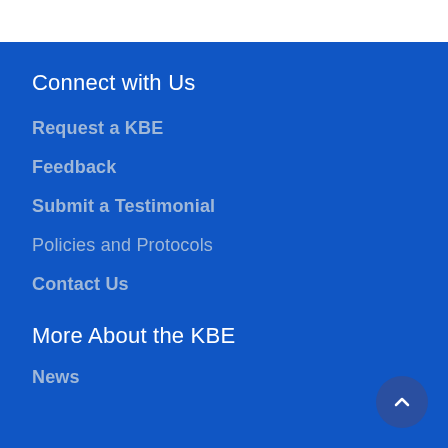Connect with Us
Request a KBE
Feedback
Submit a Testimonial
Policies and Protocols
Contact Us
More About the KBE
News